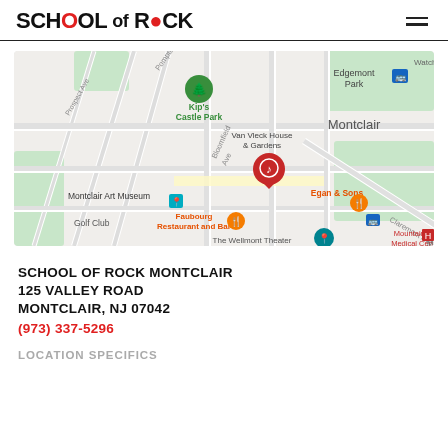SCHOOL OF ROCK
[Figure (map): Google Maps screenshot showing location of School of Rock Montclair in Montclair, NJ. Map shows nearby landmarks including Kip's Castle Park, Van Vleck House & Gardens, Montclair Art Museum, Golf Club, Faubourg Restaurant and Bar, Egan & Sons, The Wellmont Theater, Edgemont Park, and Mountainside Medical Center. A red School of Rock pin marker is placed on the map.]
SCHOOL OF ROCK MONTCLAIR
125 VALLEY ROAD
MONTCLAIR, NJ 07042
(973) 337-5296
LOCATION SPECIFICS